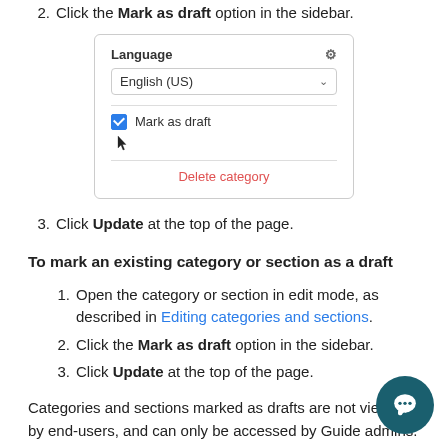2. Click the Mark as draft option in the sidebar.
[Figure (screenshot): UI sidebar screenshot showing Language section with English (US) dropdown, a checked blue checkbox labeled 'Mark as draft' with cursor pointer, and a red 'Delete category' link.]
3. Click Update at the top of the page.
To mark an existing category or section as a draft
1. Open the category or section in edit mode, as described in Editing categories and sections.
2. Click the Mark as draft option in the sidebar.
3. Click Update at the top of the page.
Categories and sections marked as drafts are not viewable by end-users, and can only be accessed by Guide admins.